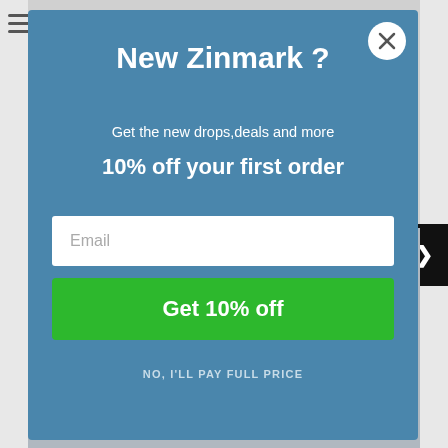[Figure (screenshot): E-commerce website popup modal with blue background offering 10% off discount for new Zinmark customers. Contains title 'New Zinmark ?', subtitle text, email input field, green submit button, and a dismiss link.]
New Zinmark ?
Get the new drops,deals and more
10% off your first order
Email
Get 10% off
NO, I'll PAY FULL PRICE